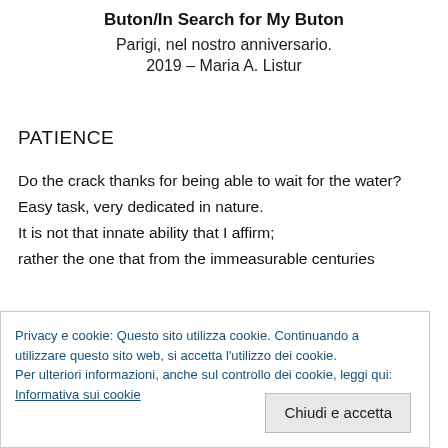Buton/In Search for My Buton
Parigi, nel nostro anniversario.
2019 – Maria A. Listur
PATIENCE
Do the crack thanks for being able to wait for the water?
Easy task, very dedicated in nature.
It is not that innate ability that I affirm;
rather the one that from the immeasurable centuries
Privacy e cookie: Questo sito utilizza cookie. Continuando a utilizzare questo sito web, si accetta l'utilizzo dei cookie.
Per ulteriori informazioni, anche sul controllo dei cookie, leggi qui:
Informativa sui cookie
Chiudi e accetta